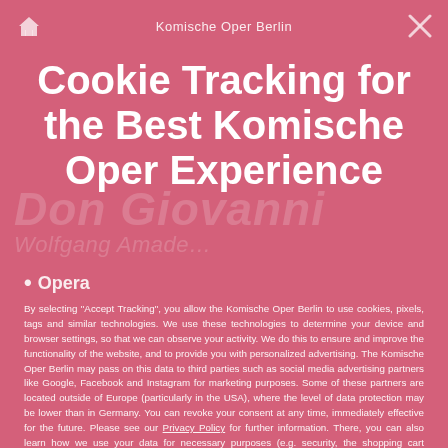Komische Oper Berlin
Cookie Tracking for the Best Komische Oper Experience
Opera
By selecting “Accept Tracking”, you allow the Komische Oper Berlin to use cookies, pixels, tags and similar technologies. We use these technologies to determine your device and browser settings, so that we can observe your activity. We do this to ensure and improve the functionality of the website, and to provide you with personalized advertising. The Komische Oper Berlin may pass on this data to third parties such as social media advertising partners like Google, Facebook and Instagram for marketing purposes. Some of these partners are located outside of Europe (particularly in the USA), where the level of data protection may be lower than in Germany. You can revoke your consent at any time, immediately effective for the future. Please see our Privacy Policy for further information. There, you can also learn how we use your data for necessary purposes (e.g. security, the shopping cart function, registration). By clicking the button “Manage Settings” you can choose which technologies you want to allow.